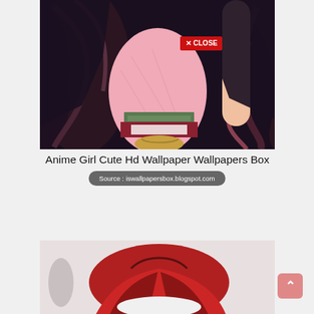[Figure (illustration): Anime girl illustration with long dark purple/brown hair in a pink kimono with green and red obi, close-up torso view. A red 'X CLOSE' button overlay is visible in the upper center.]
Anime Girl Cute Hd Wallpaper Wallpapers Box
Source : iswallpapersbox.blogspot.com
[Figure (illustration): Second anime illustration partially visible showing a figure in red and white clothing against a dark background with a black bar at the top.]